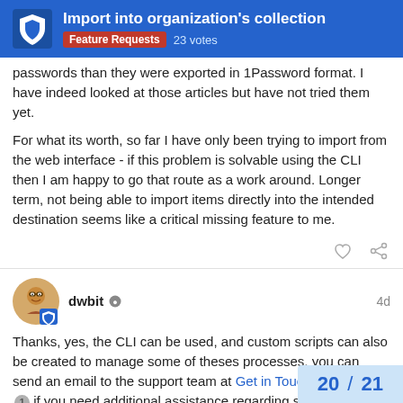Import into organization's collection | Feature Requests 23 votes
passwords than they were exported in 1Password format. I have indeed looked at those articles but have not tried them yet.
For what its worth, so far I have only been trying to import from the web interface - if this problem is solvable using the CLI then I am happy to go that route as a work around. Longer term, not being able to import items directly into the intended destination seems like a critical missing feature to me.
dwbit 4d
Thanks, yes, the CLI can be used, and custom scripts can also be created to manage some of theses processes, you can send an email to the support team at Get in Touch | Bitwarden 1 if you need additional assistance regarding s...
Regarding import to specific collection, wi...
20 / 21